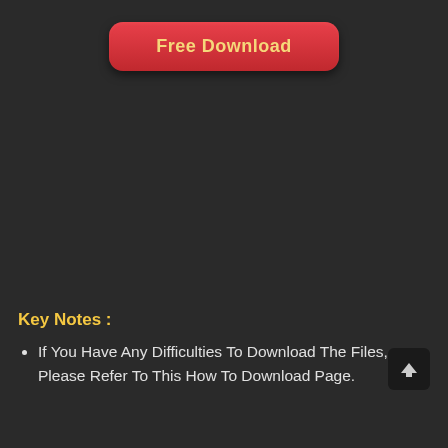[Figure (other): Red rounded button with bold gold text reading 'Free Download' on a dark background]
Key Notes :
If You Have Any Difficulties To Download The Files, Please Refer To This How To Download Page.